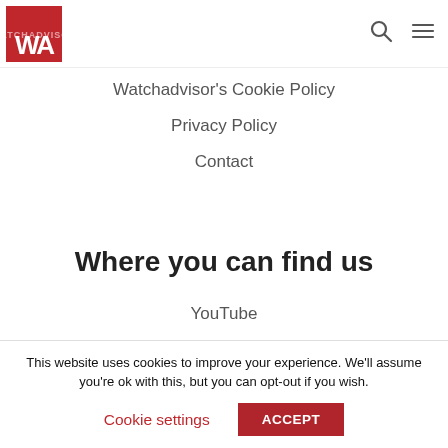[Figure (logo): WA logo — red square with white WA letters]
Watchadvisor's Cookie Policy
Privacy Policy
Contact
Where you can find us
YouTube
Instagram
This website uses cookies to improve your experience. We'll assume you're ok with this, but you can opt-out if you wish.
Cookie settings
ACCEPT